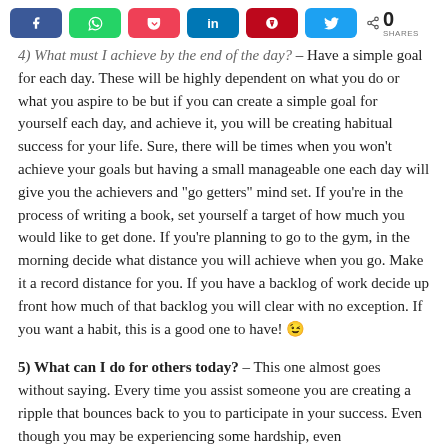Share buttons: Facebook, WhatsApp, Pocket, LinkedIn, Pinterest, Twitter — 0 SHARES
4) What must I achieve by the end of the day? – Have a simple goal for each day. These will be highly dependent on what you do or what you aspire to be but if you can create a simple goal for yourself each day, and achieve it, you will be creating habitual success for your life. Sure, there will be times when you won't achieve your goals but having a small manageable one each day will give you the achievers and "go getters" mind set. If you're in the process of writing a book, set yourself a target of how much you would like to get done. If you're planning to go to the gym, in the morning decide what distance you will achieve when you go. Make it a record distance for you. If you have a backlog of work decide up front how much of that backlog you will clear with no exception. If you want a habit, this is a good one to have! 😉
5) What can I do for others today? – This one almost goes without saying. Every time you assist someone you are creating a ripple that bounces back to you to participate in your success. Even though you may be experiencing some hardship, even